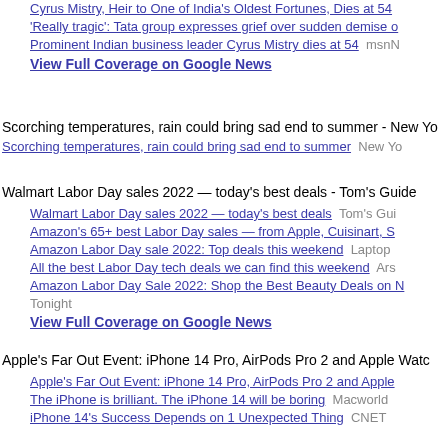3. Cyrus Mistry, Heir to One of India's Oldest Fortunes, Dies at 54
4. 'Really tragic': Tata group expresses grief over sudden demise o...
5. Prominent Indian business leader Cyrus Mistry dies at 54  msnN...
6. View Full Coverage on Google News
Scorching temperatures, rain could bring sad end to summer - New Yo...
Scorching temperatures, rain could bring sad end to summer  New Yo...
Walmart Labor Day sales 2022 — today's best deals - Tom's Guide
1. Walmart Labor Day sales 2022 — today's best deals  Tom's Gui...
2. Amazon's 65+ best Labor Day sales — from Apple, Cuisinart, S...
3. Amazon Labor Day sale 2022: Top deals this weekend  Laptop...
4. All the best Labor Day tech deals we can find this weekend  Ars...
5. Amazon Labor Day Sale 2022: Shop the Best Beauty Deals on N... Tonight
6. View Full Coverage on Google News
Apple's Far Out Event: iPhone 14 Pro, AirPods Pro 2 and Apple Watc...
1. Apple's Far Out Event: iPhone 14 Pro, AirPods Pro 2 and Apple...
2. The iPhone is brilliant. The iPhone 14 will be boring  Macworld...
3. iPhone 14's Success Depends on 1 Unexpected Thing  CNET